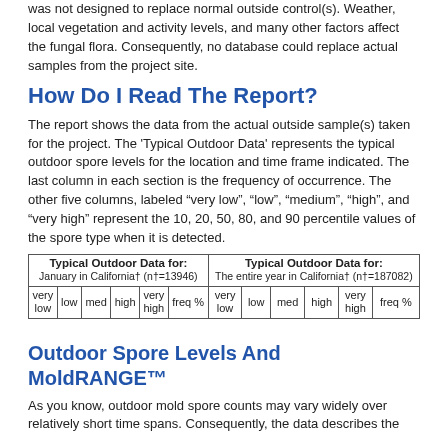was not designed to replace normal outside control(s). Weather, local vegetation and activity levels, and many other factors affect the fungal flora. Consequently, no database could replace actual samples from the project site.
How Do I Read The Report?
The report shows the data from the actual outside sample(s) taken for the project. The 'Typical Outdoor Data' represents the typical outdoor spore levels for the location and time frame indicated. The last column in each section is the frequency of occurrence. The other five columns, labeled "very low", "low", "medium", "high", and "very high" represent the 10, 20, 50, 80, and 90 percentile values of the spore type when it is detected.
| Typical Outdoor Data for: January in California† (n†=13946) | Typical Outdoor Data for: The entire year in California† (n†=187082) |
| --- | --- |
| very low | low | med | high | very high | freq % | very low | low | med | high | very high | freq % |
Outdoor Spore Levels And MoldRANGE™
As you know, outdoor mold spore counts may vary widely over relatively short time spans. Consequently, the data describes the